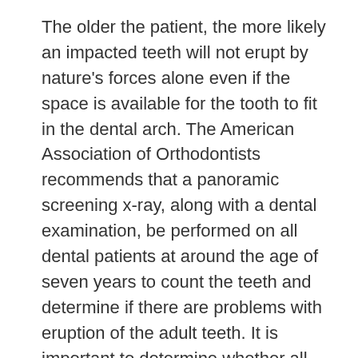The older the patient, the more likely an impacted teeth will not erupt by nature's forces alone even if the space is available for the tooth to fit in the dental arch. The American Association of Orthodontists recommends that a panoramic screening x-ray, along with a dental examination, be performed on all dental patients at around the age of seven years to count the teeth and determine if there are problems with eruption of the adult teeth. It is important to determine whether all the adult teeth are present or are some adult teeth missing.